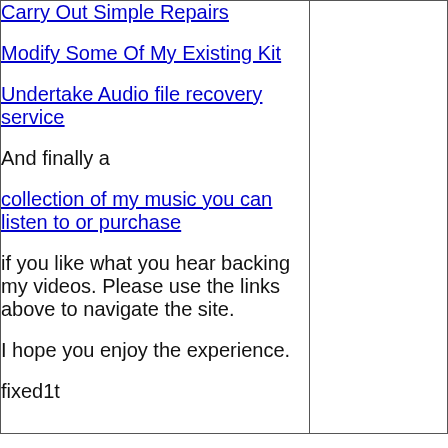Carry Out Simple Repairs
Modify Some Of My Existing Kit
Undertake Audio file recovery service
And finally a
collection of my music you can listen to or purchase
if you like what you hear backing my videos. Please use the links above to navigate the site.
I hope you enjoy the experience.
fixed1t